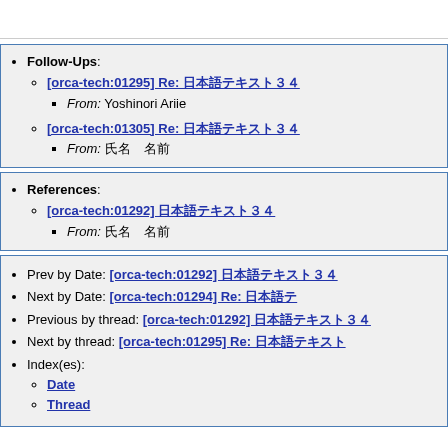Follow-Ups:
[orca-tech:01295] Re: 日本語テキスト
From: Yoshinori Ariie
[orca-tech:01305] Re: 日本語テキスト
From: 氏名 名前
References:
[orca-tech:01292] 日本語テキスト
From: 氏名 名前
Prev by Date: [orca-tech:01292] 日本語テキスト
Next by Date: [orca-tech:01294] Re: 日本語
Previous by thread: [orca-tech:01292] 日本語テキスト
Next by thread: [orca-tech:01295] Re: 日本語テキスト
Index(es):
Date
Thread